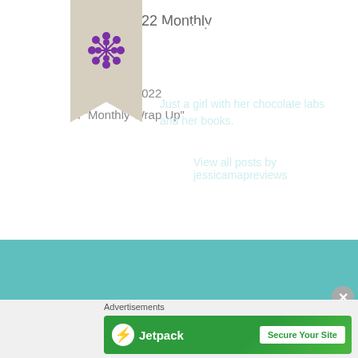January 2022 Monthly Wrap Up
February 1, 2022
In "Monthly Wrap Up"
Published by jessicamapreviews
Just a girl with her chocolate labs and her books.
View all posts by jessicamapreviews
Advertisements
[Figure (logo): Jetpack advertisement banner with green background, Jetpack logo on left, and 'Secure Your Site' button on right]